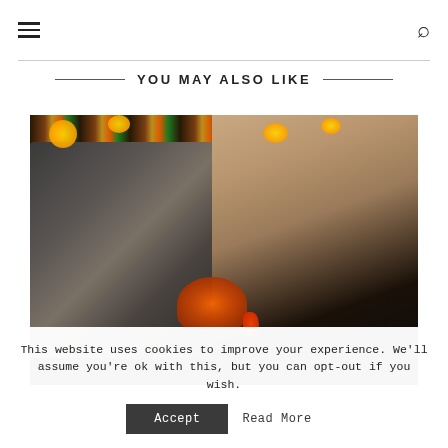Navigation header with hamburger menu and search icon
YOU MAY ALSO LIKE
[Figure (photo): Artistic photograph showing a person holding a stone or ice sculpture of a face, with floral decorations on a dark background]
This website uses cookies to improve your experience. We'll assume you're ok with this, but you can opt-out if you wish.
Accept   Read More